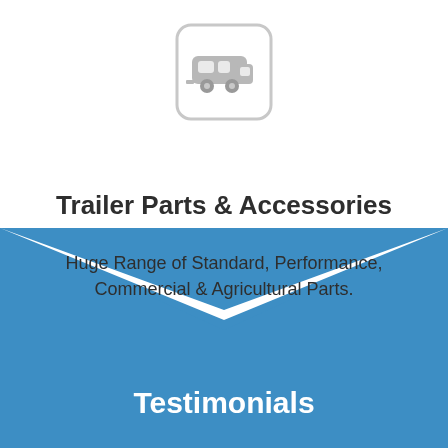[Figure (logo): A caravan/trailer icon inside a rounded rectangle with light gray color]
Trailer Parts & Accessories
Huge Range of Standard, Performance, Commercial & Agricultural Parts.
Testimonials